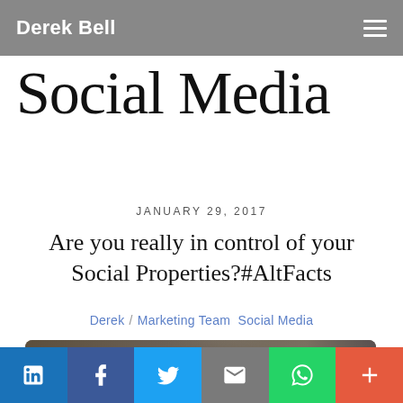Derek Bell
Social Media
JANUARY 29, 2017
Are you really in control of your Social Properties?#AltFacts
Derek / Marketing Team Social Media
[Figure (photo): Dark background photo with text overlay reading 'Alternative']
Social share buttons: LinkedIn, Facebook, Twitter, Email, WhatsApp, More